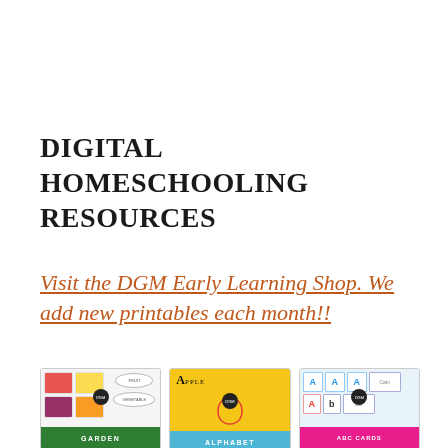DIGITAL HOMESCHOOLING RESOURCES
Visit the DGM Early Learning Shop. We add new printables each month!!
[Figure (illustration): Three product cards showing educational printables: a Garden sorting activity with fruit and vegetable images on white background with green bottom bar, an Alphabet book showing an apple drawing on yellow background with blue bottom bar, and ABC letter cards on light blue background with pink bottom bar.]